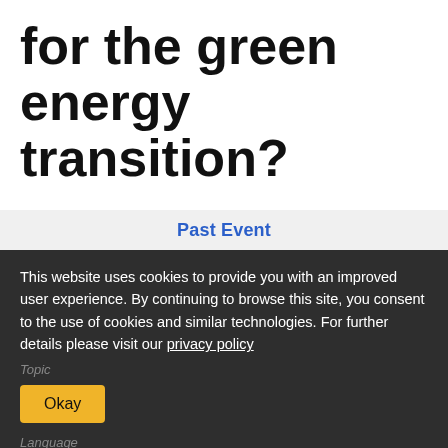for the green energy transition?
Past Event
This website uses cookies to provide you with an improved user experience. By continuing to browse this site, you consent to the use of cookies and similar technologies. For further details please visit our privacy policy
Topic
Okay
Language
English